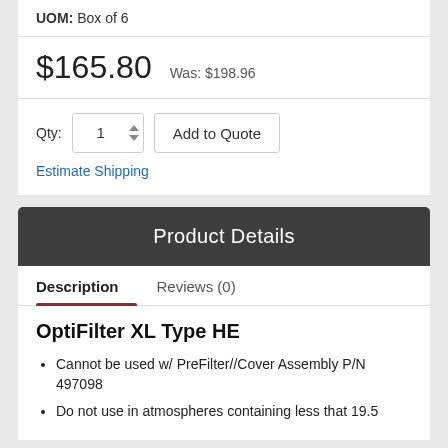UOM: Box of 6
$165.80   Was: $198.96
Qty: 1  Add to Quote
Estimate Shipping
Product Details
Description   Reviews (0)
OptiFilter XL Type HE
Cannot be used w/ PreFilter//Cover Assembly P/N 497098
Do not use in atmospheres containing less that 19.5